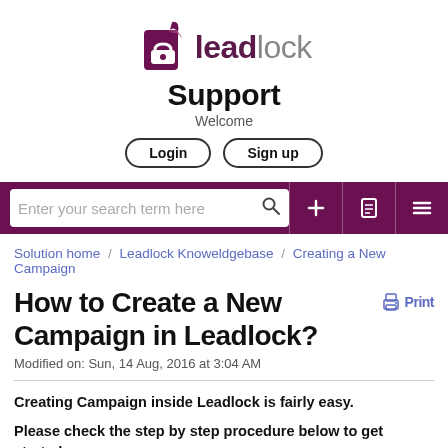[Figure (logo): Leadlock logo — purple book icon with quill, and text 'leadlock' with 'lead' in purple bold and 'lock' in gray]
Support
Welcome
Login   Sign up
[Figure (screenshot): Dark purple search bar with input field 'Enter your search term here' and search icon, plus toolbar icons for add, document, and menu]
Solution home / Leadlock Knoweldgebase / Creating a New Campaign
How to Create a New Campaign in Leadlock?
Modified on: Sun, 14 Aug, 2016 at 3:04 AM
Creating Campaign inside Leadlock is fairly easy.
Please check the step by step procedure below to get started